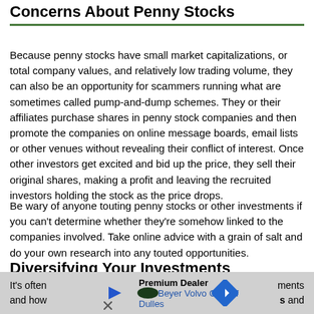Concerns About Penny Stocks
Because penny stocks have small market capitalizations, or total company values, and relatively low trading volume, they can also be an opportunity for scammers running what are sometimes called pump-and-dump schemes. They or their affiliates purchase shares in penny stock companies and then promote the companies on online message boards, email lists or other venues without revealing their conflict of interest. Once other investors get excited and bid up the price, they sell their original shares, making a profit and leaving the recruited investors holding the stock as the price drops.
Be wary of anyone touting penny stocks or other investments if you can't determine whether they're somehow linked to the companies involved. Take online advice with a grain of salt and do your own research into any touted opportunities.
Diversifying Your Investments
It's often ... ments and how ... es and